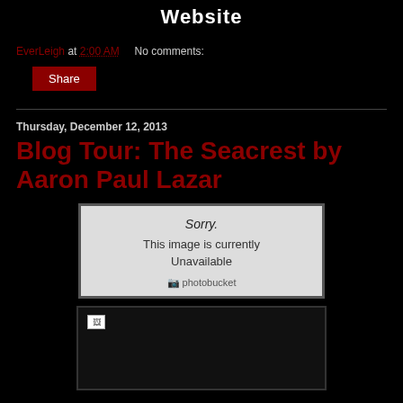Website
EverLeigh at 2:00 AM   No comments:
Share
Thursday, December 12, 2013
Blog Tour: The Seacrest by Aaron Paul Lazar
[Figure (photo): Photobucket placeholder image showing 'Sorry. This image is currently Unavailable' with photobucket logo]
[Figure (photo): Broken image placeholder with small icon in top-left corner, dark background]